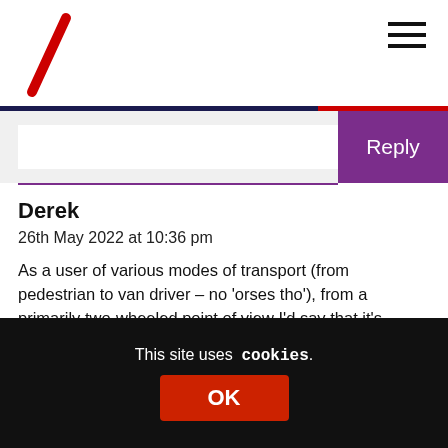ScotRail logo and navigation
Reply
Derek
26th May 2022 at 10:36 pm
As a user of various modes of transport (from pedestrian to van driver – no 'orses tho'), from a primarily two-wheeled point of view I'd say that it's important to make eye contact whenever possible. There's a lot of communication to be had from simple gestures – and that applies to all road
This site uses cookies.
OK